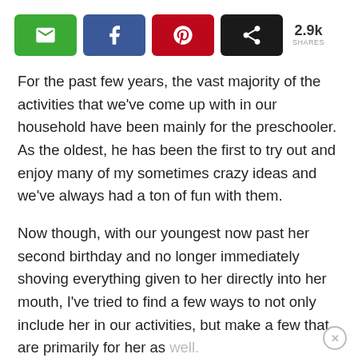[Figure (infographic): Social share bar with email (green), Facebook (blue), Pinterest (red), share (black) buttons and 2.9k shares count]
For the past few years, the vast majority of the activities that we've come up with in our household have been mainly for the preschooler.  As the oldest, he has been the first to try out and enjoy many of my sometimes crazy ideas and we've always had a ton of fun with them.
Now though, with our youngest now past her second birthday and no longer immediately shoving everything given to her directly into her mouth, I've tried to find a few ways to not only include her in our activities, but make a few that are primarily for her as well.